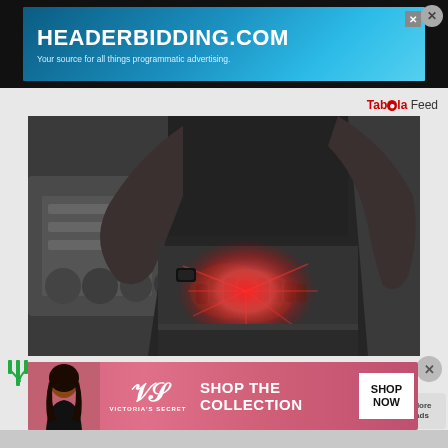[Figure (screenshot): Top advertisement banner for HEADERBIDDING.COM — blue gradient background, white bold text 'HEADERBIDDING.COM', subtitle 'Your source for all things programmatic advertising.']
Taboola Feed
[Figure (photo): Black and white photo of a person holding their lower back in pain, with a red glow indicating pain area. Background shows a gym with weights on a rack.]
11 Ways To Relieve Pain Naturally
[Figure (screenshot): Bottom advertisement for Victoria's Secret — pink gradient background with model photo, VS logo, text 'SHOP THE COLLECTION', white 'SHOP NOW' button.]